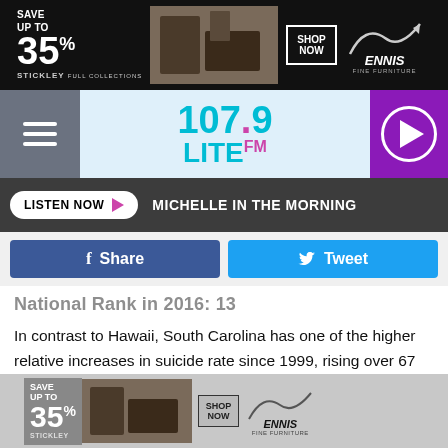[Figure (other): Advertisement banner: SAVE UP TO 35% STICKLEY FULL COLLECTIONS - SHOP NOW - ENNIS FINE FURNITURE]
[Figure (logo): 107.9 LITE FM radio station logo with hamburger menu and play button]
LISTEN NOW ▶   MICHELLE IN THE MORNING
[Figure (other): Social sharing buttons: Facebook Share and Twitter Tweet]
National Rank in 2016: 13
In contrast to Hawaii, South Carolina has one of the higher relative increases in suicide rate since 1999, rising over 67 percent from 9.6 to 16.1. South Carolina's upward trend has seen a steadier increase than others, as the state did not witness the same acceleration in growth that others did following 2007. This upward trend has been so steady, in
[Figure (other): Bottom advertisement banner: SAVE UP TO 35% STICKLEY - SHOP NOW - ENNIS FINE FURNITURE]